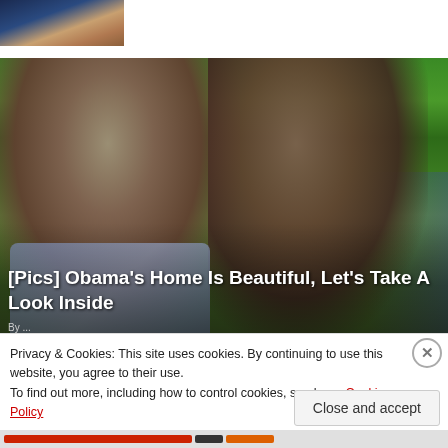[Figure (photo): Small thumbnail photo of a person holding a device, cropped at top-left corner]
[Figure (photo): Large photo of Barack Obama and Michelle Obama wearing sunglasses outdoors with green trees in background]
[Pics] Obama's Home Is Beautiful, Let's Take A Look Inside
Privacy & Cookies: This site uses cookies. By continuing to use this website, you agree to their use.
To find out more, including how to control cookies, see here: Cookie Policy